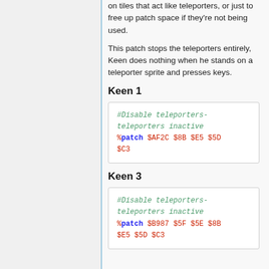on tiles that act like teleporters, or just to free up patch space if they're not being used.
This patch stops the teleporters entirely, Keen does nothing when he stands on a teleporter sprite and presses keys.
Keen 1
#Disable teleporters-teleporters inactive
%patch $AF2C $8B $E5 $5D $C3
Keen 3
#Disable teleporters-teleporters inactive
%patch $B987 $5F $5E $8B $E5 $5D $C3